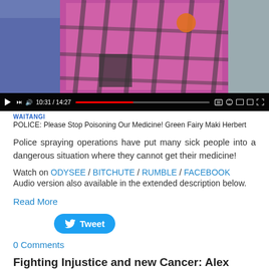[Figure (screenshot): Embedded video player showing a person in a pink plaid hoodie holding items outdoors. Video controls show timestamp 10:31 / 14:27. Progress bar shows partial playback.]
WAITANGI
POLICE: Please Stop Poisoning Our Medicine! Green Fairy Maki Herbert
Police spraying operations have put many sick people into a dangerous situation where they cannot get their medicine!
Watch on ODYSEE / BITCHUTE / RUMBLE / FACEBOOK
Audio version also available in the extended description below.
Read More
[Figure (other): Tweet button — blue rounded button with Twitter bird icon and 'Tweet' text]
0 Comments
Fighting Injustice and new Cancer: Alex Pirie